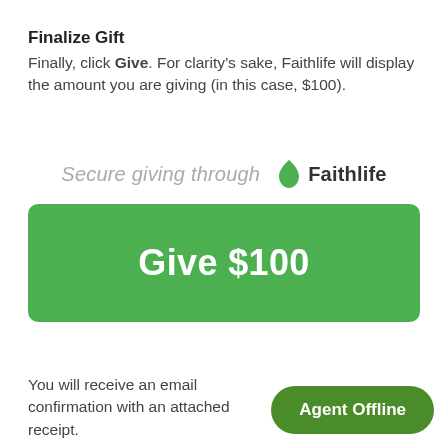Finalize Gift
Finally, click Give. For clarity’s sake, Faithlife will display the amount you are giving (in this case, $100).
[Figure (screenshot): Faithlife secure giving interface showing 'Secure giving through Faithlife' header with a green flame/leaf logo, and a large green 'Give $100' button]
You will receive an email confirmation with an attached receipt.